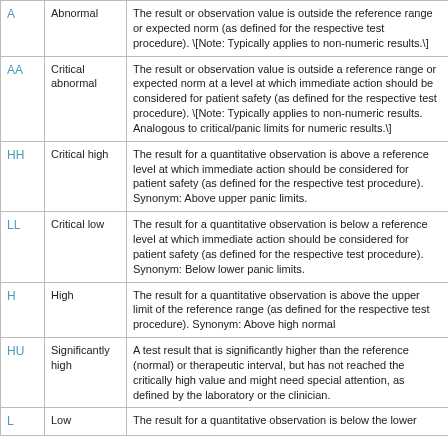| Code | Label | Description |
| --- | --- | --- |
| A | Abnormal | The result or observation value is outside the reference range or expected norm (as defined for the respective test procedure). \[Note: Typically applies to non-numeric results.\] |
| AA | Critical abnormal | The result or observation value is outside a reference range or expected norm at a level at which immediate action should be considered for patient safety (as defined for the respective test procedure). \[Note: Typically applies to non-numeric results. Analogous to critical/panic limits for numeric results.\] |
| HH | Critical high | The result for a quantitative observation is above a reference level at which immediate action should be considered for patient safety (as defined for the respective test procedure). Synonym: Above upper panic limits. |
| LL | Critical low | The result for a quantitative observation is below a reference level at which immediate action should be considered for patient safety (as defined for the respective test procedure). Synonym: Below lower panic limits. |
| H | High | The result for a quantitative observation is above the upper limit of the reference range (as defined for the respective test procedure). Synonym: Above high normal |
| HU | Significantly high | A test result that is significantly higher than the reference (normal) or therapeutic interval, but has not reached the critically high value and might need special attention, as defined by the laboratory or the clinician. |
| L | Low | The result for a quantitative observation is below the lower |